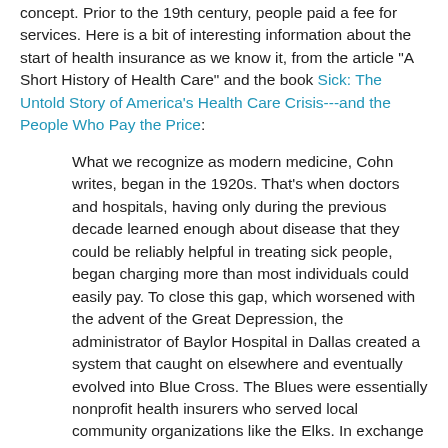concept. Prior to the 19th century, people paid a fee for services. Here is a bit of interesting information about the start of health insurance as we know it, from the article "A Short History of Health Care" and the book Sick: The Untold Story of America's Health Care Crisis---and the People Who Pay the Price:
What we recognize as modern medicine, Cohn writes, began in the 1920s. That's when doctors and hospitals, having only during the previous decade learned enough about disease that they could be reliably helpful in treating sick people, began charging more than most individuals could easily pay. To close this gap, which worsened with the advent of the Great Depression, the administrator of Baylor Hospital in Dallas created a system that caught on elsewhere and eventually evolved into Blue Cross. The Blues were essentially nonprofit health insurers who served local community organizations like the Elks. In exchange for a tax break, Blue Cross organizations kept premiums reasonably low.